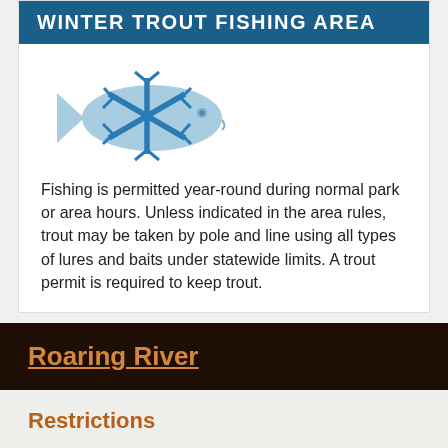WINTER TROUT FISHING AREA
[Figure (illustration): A light blue fish silhouette overlapping with a blue snowflake icon, representing winter trout fishing.]
Fishing is permitted year-round during normal park or area hours. Unless indicated in the area rules, trout may be taken by pole and line using all types of lures and baits under statewide limits. A trout permit is required to keep trout.
Roaring River
Restrictions
The use of porous-soled waders is prohibited. While on any waters with length limits, all trout you possess must be kept with head, tail, and skin intact.